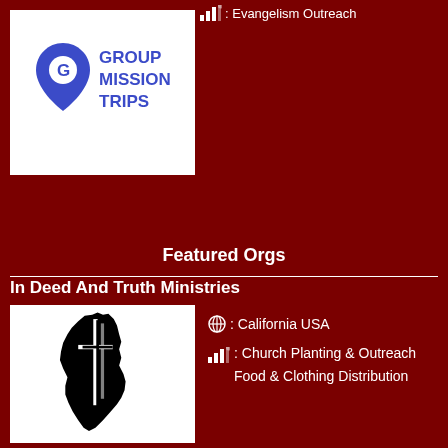Evangelism Outreach
[Figure (logo): Group Mission Trips logo - blue map pin with G letter inside, text GROUP MISSION TRIPS in blue bold font on white background]
Featured Orgs
In Deed And Truth Ministries
[Figure (logo): In Deed And Truth Ministries logo - silhouette of Africa continent in black with a cross/door symbol overlaid, on white background]
California USA
Church Planting & Outreach Food & Clothing Distribution